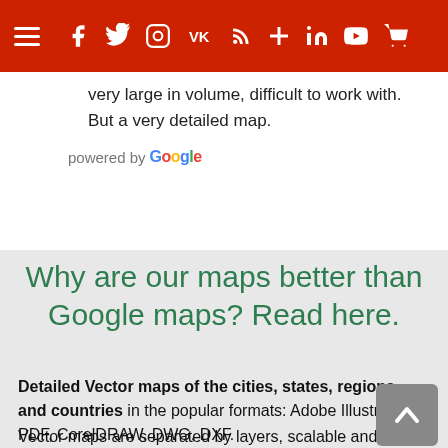Navigation bar with hamburger menu and social/share icons
very large in volume, difficult to work with. But a very detailed map.
[Figure (logo): powered by Google logo]
Why are our maps better than Google maps? Read here.
Detailed Vector maps of the cities, states, regions, and countries in the popular formats: Adobe Illustrator, PDF, CorelDRAW, DWG, DXF.
Vector maps are separated by layers, scalable and fully editable. You can specify each color and change...